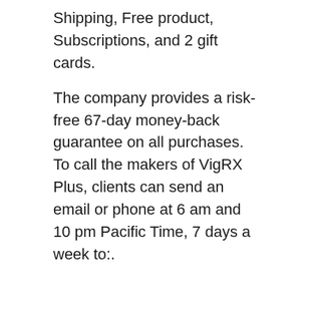Shipping, Free product, Subscriptions, and 2 gift cards.
The company provides a risk-free 67-day money-back guarantee on all purchases. To call the makers of VigRX Plus, clients can send an email or phone at 6 am and 10 pm Pacific Time, 7 days a week to:.
FAQ's.
Where can you purchase VigRx Plus?
You can purchase VigRX Plus straight on their